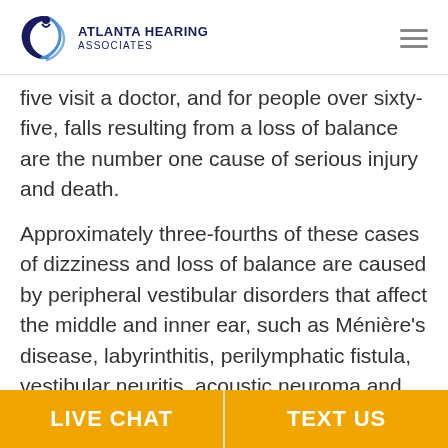Atlanta Hearing Associates
five visit a doctor, and for people over sixty-five, falls resulting from a loss of balance are the number one cause of serious injury and death.
Approximately three-fourths of these cases of dizziness and loss of balance are caused by peripheral vestibular disorders that affect the middle and inner ear, such as Ménière's disease, labyrinthitis, perilymphatic fistula, vestibular neuritis, acoustic neuroma and benign paroxysmal positional vertigo (BPPV). All of these conditions affect the inner ear and the delicate system that
LIVE CHAT   TEXT US